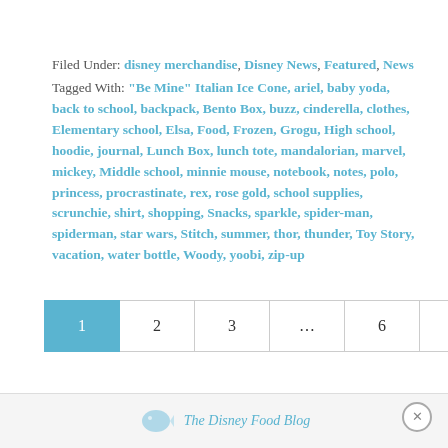Filed Under: disney merchandise, Disney News, Featured, News
Tagged With: "Be Mine" Italian Ice Cone, ariel, baby yoda, back to school, backpack, Bento Box, buzz, cinderella, clothes, Elementary school, Elsa, Food, Frozen, Grogu, High school, hoodie, journal, Lunch Box, lunch tote, mandalorian, marvel, mickey, Middle school, minnie mouse, notebook, notes, polo, princess, procrastinate, rex, rose gold, school supplies, scrunchie, shirt, shopping, Snacks, sparkle, spider-man, spiderman, star wars, Stitch, summer, thor, thunder, Toy Story, vacation, water bottle, Woody, yoobi, zip-up
1 (current page)
2
3
...
6
Next Page »
The Disney Food Blog